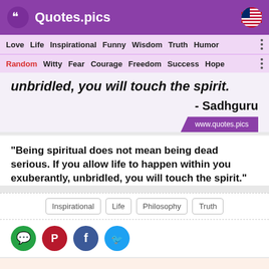Quotes.pics
Love  Life  Inspirational  Funny  Wisdom  Truth  Humor
Random  Witty  Fear  Courage  Freedom  Success  Hope
unbridled, you will touch the spirit.
- Sadhguru
www.quotes.pics
“Being spiritual does not mean being dead serious. If you allow life to happen within you exuberantly, unbridled, you will touch the spirit.”
Inspirational
Life
Philosophy
Truth